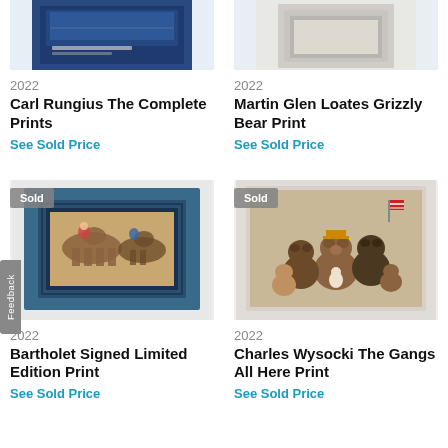[Figure (photo): Cropped top of a book cover with blue background, text 'A Catalog Raisonne by Howard S. Crowell']
[Figure (photo): Cropped top of a framed print on white background]
2022
Carl Rungius The Complete Prints
See Sold Price
2022
Martin Glen Loates Grizzly Bear Print
See Sold Price
[Figure (photo): Sold badge. Photo of a framed horse racing print in blue mat on white background]
[Figure (photo): Sold badge. Photo of Charles Wysocki bears print showing group of teddy bears]
2022
Bartholet Signed Limited Edition Print
See Sold Price
2022
Charles Wysocki The Gangs All Here Print
See Sold Price